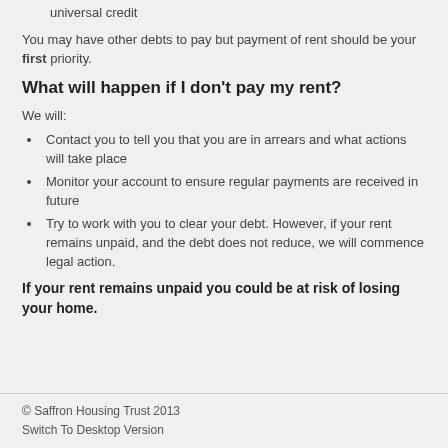universal credit
You may have other debts to pay but payment of rent should be your first priority.
What will happen if I don't pay my rent?
We will:
Contact you to tell you that you are in arrears and what actions will take place
Monitor your account to ensure regular payments are received in future
Try to work with you to clear your debt. However, if your rent remains unpaid, and the debt does not reduce, we will commence legal action.
If your rent remains unpaid you could be at risk of losing your home.
© Saffron Housing Trust 2013
Switch To Desktop Version